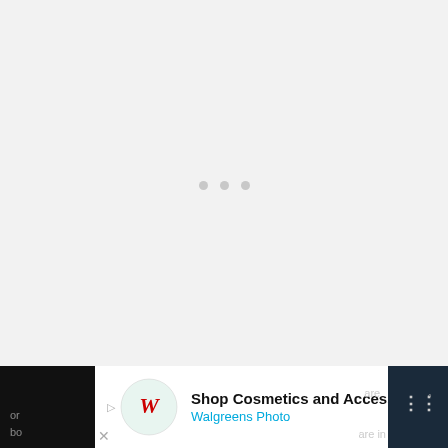[Figure (other): Loading indicator with three small gray dots centered in a large light gray area]
In cases where you aren't able to boil water
[Figure (other): Walgreens Photo advertisement banner at bottom of page. Shows Walgreens cursive logo, text 'Shop Cosmetics and Accessories' and 'Walgreens Photo' with a blue navigation arrow icon on the right.]